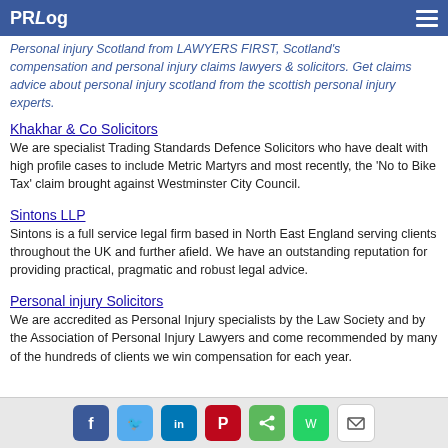PRLog
Personal injury Scotland from LAWYERS FIRST, Scotland's compensation and personal injury claims lawyers & solicitors. Get claims advice about personal injury scotland from the scottish personal injury experts.
Khakhar & Co Solicitors
We are specialist Trading Standards Defence Solicitors who have dealt with high profile cases to include Metric Martyrs and most recently, the 'No to Bike Tax' claim brought against Westminster City Council.
Sintons LLP
Sintons is a full service legal firm based in North East England serving clients throughout the UK and further afield. We have an outstanding reputation for providing practical, pragmatic and robust legal advice.
Personal injury Solicitors
We are accredited as Personal Injury specialists by the Law Society and by the Association of Personal Injury Lawyers and come recommended by many of the hundreds of clients we win compensation for each year.
Social sharing icons: Facebook, Twitter, LinkedIn, Pinterest, Share, WhatsApp, Email